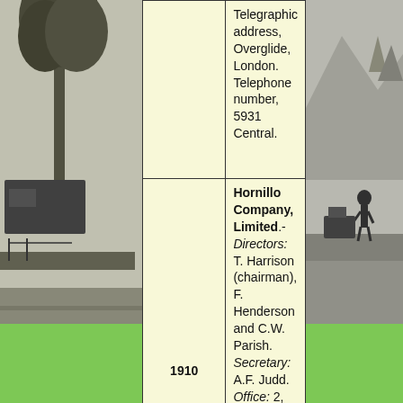[Figure (photo): Black and white photograph of a railway scene with trees on the left side]
| Year | Description |
| --- | --- |
|  | Telegraphic address, Overglide, London. Telephone number, 5931 Central. |
| 1910 | Hornillo Company, Limited.- Directors: T. Harrison (chairman), F. Henderson and C.W. Parish. Secretary: A.F. Judd. Office: 2, Broad Street Place, E.C.-The company was registered July 21, 1899, to |
[Figure (photo): Black and white photograph of a railway scene with a person standing near equipment on the right side]